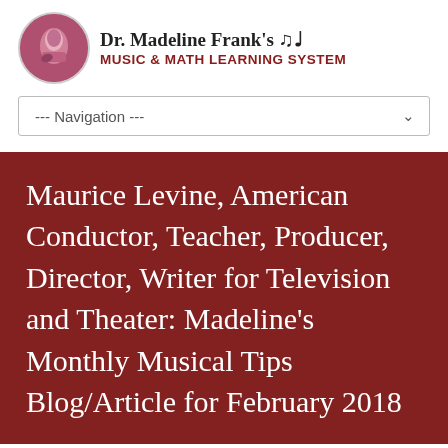Dr. Madeline Frank's MUSIC & MATH LEARNING SYSTEM
--- Navigation ---
Maurice Levine, American Conductor, Teacher, Producer, Director, Writer for Television and Theater: Madeline's Monthly Musical Tips Blog/Article for February 2018
Home → 2018 → Maurice Levine, American